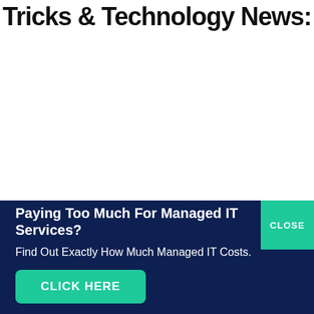Tricks & Technology News:
[Figure (other): White blank content area]
Paying Too Much For Managed IT Services?
Find Out Exactly How Much Managed IT Costs.
CLICK HERE
CLOSE